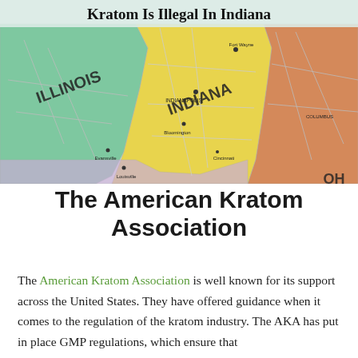[Figure (map): A road map showing parts of the US midwest states including Illinois (green), Indiana (yellow), and Ohio (orange/salmon), with city labels including Indianapolis, Fort Wayne, Bloomington, Evansville, Louisville. Title text 'Kratom Is Illegal In Indiana' overlaid at the top of the map image.]
The American Kratom Association
The American Kratom Association is well known for its support across the United States. They have offered guidance when it comes to the regulation of the kratom industry. The AKA has put in place GMP regulations, which ensure that the kratom industry…